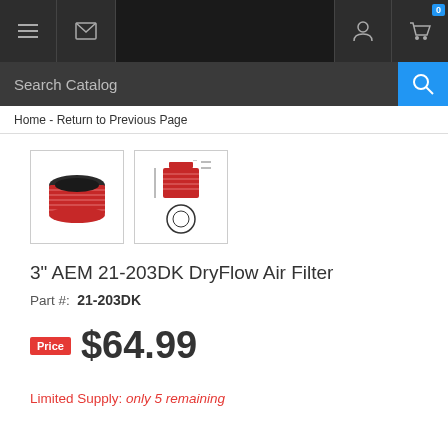Navigation bar with menu, message, search, profile, and cart icons
Search Catalog
Home - Return to Previous Page
[Figure (photo): Two product thumbnail images: a red cylindrical air filter (photo) and a technical diagram of the same filter with dimensions]
3" AEM 21-203DK DryFlow Air Filter
Part #: 21-203DK
Price $64.99
Limited Supply: only 5 remaining